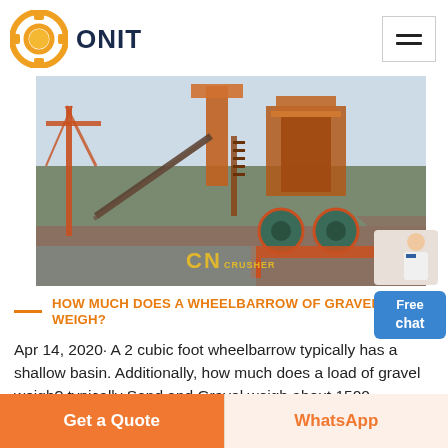ONIT
[Figure (photo): Industrial sand and gravel processing plant with orange heavy machinery, conveyor belts, and water processing equipment. CN CRUSHER watermark visible.]
HOW MUCH DOES A WHEELBARROW OF GRAVEL WEIGH?
Apr 14, 2020· A 2 cubic foot wheelbarrow typically has a shallow basin. Additionally, how much does a load of gravel weigh? typically Sand and Gravel weigh about 1500